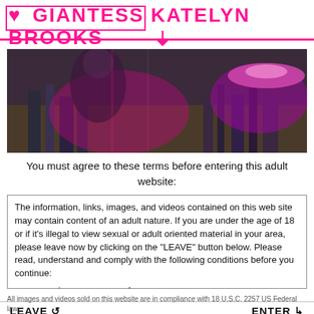♥ GIANTESS KATELYN BROOKS
[Figure (photo): Banner image showing a giantess woman looming over a cityscape with pink and purple lighting effects and flying saucers]
You must agree to these terms before entering this adult website:
The information, links, images, and videos contained on this web site may contain content of an adult nature. If you are under the age of 18 or if it's illegal to view sexual or adult oriented material in your area, please leave now by clicking on the "LEAVE" button below. Please read, understand and comply with the following conditions before you continue:

1. I am at least 18 years of age.
All images and videos sold on this website are in compliance with 18 U.S.C. 2257 US Federal law.
LEAVE   ENTER